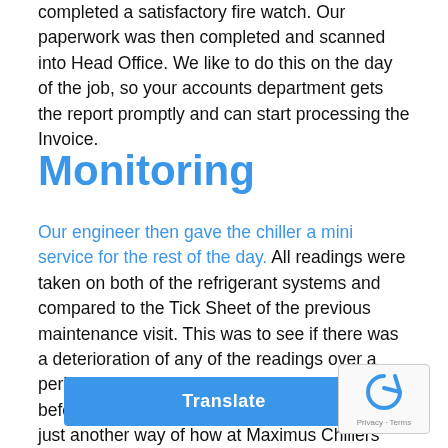completed a satisfactory fire watch. Our paperwork was then completed and scanned into Head Office. We like to do this on the day of the job, so your accounts department gets the report promptly and can start processing the Invoice.
Monitoring
Our engineer then gave the chiller a mini service for the rest of the day. All readings were taken on both of the refrigerant systems and compared to the Tick Sheet of the previous maintenance visit. This was to see if there was a deterioration of any of the readings over a period of time. Small problems would show up before they turned into big problems. This is just another way of how at Maximus Chillers saves you money.